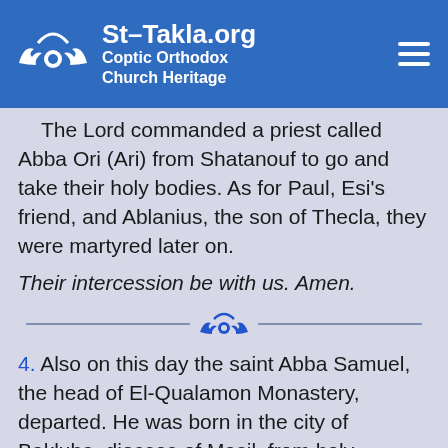St-Takla.org Coptic Orthodox Church Heritage
The Lord commanded a priest called Abba Ori (Ari) from Shatanouf to go and take their holy bodies. As for Paul, Esi's friend, and Ablanius, the son of Thecla, they were martyred later on.
Their intercession be with us. Amen.
[Figure (logo): St-Takla.org winged logo divider with horizontal lines on each side]
4. Also on this day the saint Abba Samuel, the head of El-Qualamon Monastery, departed. He was born in the city of Bakluba, diocese of Masil, from holy parents and he was their only child.